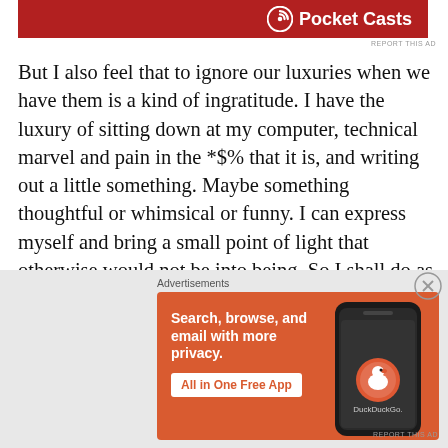[Figure (screenshot): Partial Pocket Casts advertisement banner with red background and white logo text]
But I also feel that to ignore our luxuries when we have them is a kind of ingratitude. I have the luxury of sitting down at my computer, technical marvel and pain in the *$% that it is, and writing out a little something. Maybe something thoughtful or whimsical or funny. I can express myself and bring a small point of light that otherwise would not be into being. So I shall do as I do every Friday, even in the face of tragedy and loss that while I don't know personally, I feel keenly, as most artists do.
Advertisements
[Figure (screenshot): DuckDuckGo advertisement banner with orange background showing 'Search, browse, and email with more privacy. All in One Free App' with DuckDuckGo logo on a phone mockup]